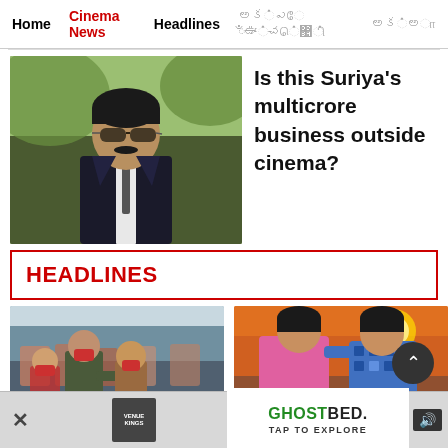Home | Cinema News | Headlines
[Figure (photo): Actor Suriya in sunglasses and suit, outdoors with green background]
Is this Suriya's multicrore business outside cinema?
HEADLINES
[Figure (photo): Tamil Nadu government bus scene with passengers wearing masks]
Tamil Nadu government
[Figure (photo): Yuzvendra Chahal with a woman at sunset]
Yuzvendra Chahal finally
[Figure (photo): Advertisement banner: GhostBed - TAP TO EXPLORE]